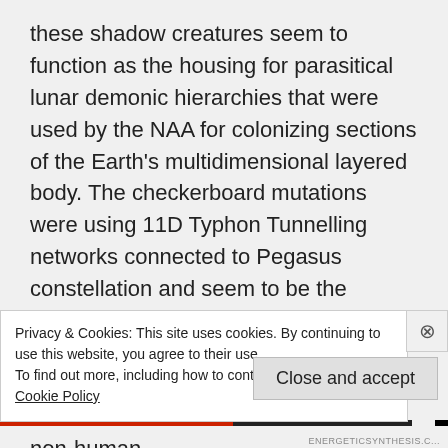these shadow creatures seem to function as the housing for parasitical lunar demonic hierarchies that were used by the NAA for colonizing sections of the Earth's multidimensional layered body. The checkerboard mutations were using 11D Typhon Tunnelling networks connected to Pegasus constellation and seem to be the terraforming method of transhumanist nightmares, this was being used to prepare the planet to be hospitable to host even more of these anti-Christ non-human
Privacy & Cookies: This site uses cookies. By continuing to use this website, you agree to their use.
To find out more, including how to control cookies, see here: Cookie Policy
Close and accept